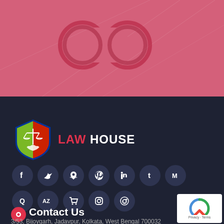[Figure (illustration): Pink banner background with decorative infinity/ring symbol outline and geometric line pattern]
[Figure (logo): Law House logo: shield with scales of justice and handshake icons in green/red/yellow, with text LAW HOUSE]
[Figure (infographic): Two rows of social media icon buttons: Facebook, Twitter, Maps, Pinterest, LinkedIn, Tumblr, Medium (row 1), Quora, AZ, Cart, Instagram, Reddit (row 2)]
Contact Us
3/53, Bijoygarh, Jadavpur, Kolkata, West Bengal 700032